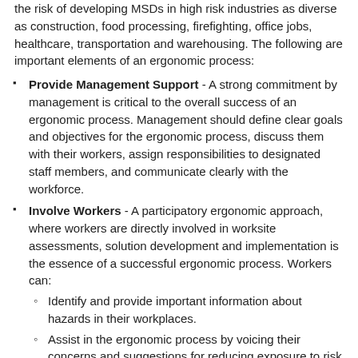the risk of developing MSDs in high risk industries as diverse as construction, food processing, firefighting, office jobs, healthcare, transportation and warehousing. The following are important elements of an ergonomic process:
Provide Management Support - A strong commitment by management is critical to the overall success of an ergonomic process. Management should define clear goals and objectives for the ergonomic process, discuss them with their workers, assign responsibilities to designated staff members, and communicate clearly with the workforce.
Involve Workers - A participatory ergonomic approach, where workers are directly involved in worksite assessments, solution development and implementation is the essence of a successful ergonomic process. Workers can:
Identify and provide important information about hazards in their workplaces.
Assist in the ergonomic process by voicing their concerns and suggestions for reducing exposure to risk factors and by evaluating the changes made as a result of an ergonomic assessment.
Provide Training - Training is an important element in the